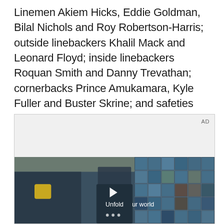Linemen Akiem Hicks, Eddie Goldman, Bilal Nichols and Roy Robertson-Harris; outside linebackers Khalil Mack and Leonard Floyd; inside linebackers Roquan Smith and Danny Trevathan; cornerbacks Prince Amukamara, Kyle Fuller and Buster Skrine; and safeties Eddie Jackson and Ha Ha Clinton-Dix.
[Figure (screenshot): An advertisement box with 'AD' label in the upper right corner. The top portion is a light gray empty area. Below is a video still showing a young man in a denim jacket standing in front of a tiled wall with blue grid squares. The text 'Unfold your world' appears over the video with a play button triangle in the center. Three dots appear at the bottom of the video.]